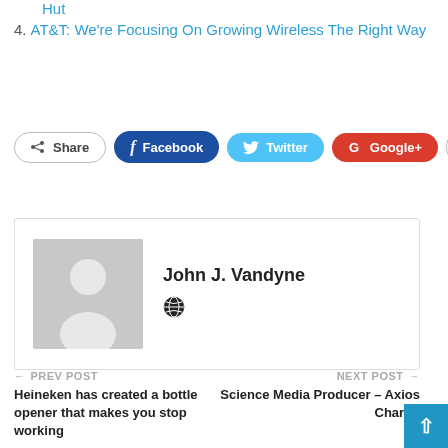Hut
4. AT&T: We're Focusing On Growing Wireless The Right Way
[Figure (other): Social sharing buttons row: Share, Facebook, Twitter, Google+, and a plus button]
[Figure (other): Author profile box with grey avatar placeholder and name John J. Vandyne with a globe icon]
← PREV POST
Heineken has created a bottle opener that makes you stop working
NEXT POST →
Science Media Producer – Axios Charlot